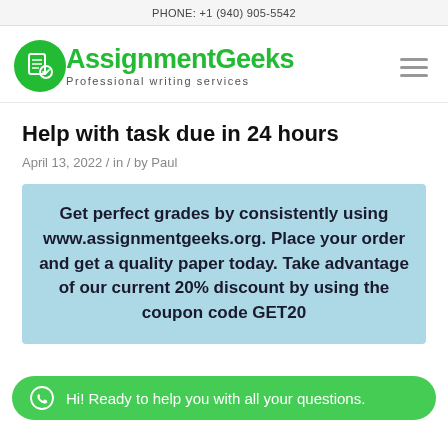PHONE: +1 (940) 905-5542
[Figure (logo): AssignmentGeeks logo with green circle icon and text 'AssignmentGeeks Professional writing services', plus hamburger menu icon]
Help with task due in 24 hours
April 13, 2022 / in / by Paul
Get perfect grades by consistently using www.assignmentgeeks.org. Place your order and get a quality paper today. Take advantage of our current 20% discount by using the coupon code GET20
Hi! Ready to help you with all your questions.